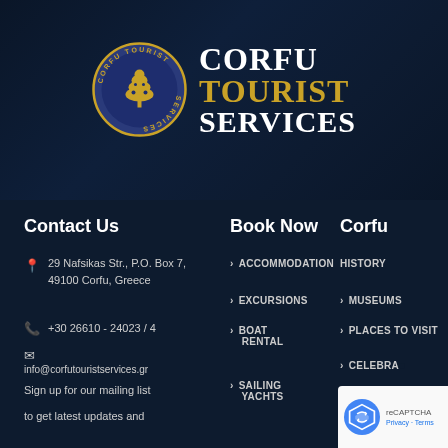[Figure (logo): Corfu Tourist Services logo — circular badge with tree emblem and text 'CORFU TOURIST SERVICES' around the border, beside bold white and gold text reading CORFU TOURIST SERVICES]
Contact Us
Book Now
Corfu
29 Nafsikas Str., P.O. Box 7, 49100 Corfu, Greece
+30 26610 - 24023 / 4
info@corfutouristservices.gr
Sign up for our mailing list
to get latest updates and
ACCOMMODATION
EXCURSIONS
BOAT RENTAL
SAILING YACHTS
HISTORY
MUSEUMS
PLACES TO VISIT
CELEBRA...
CORFU C...
RELIGIOUS...